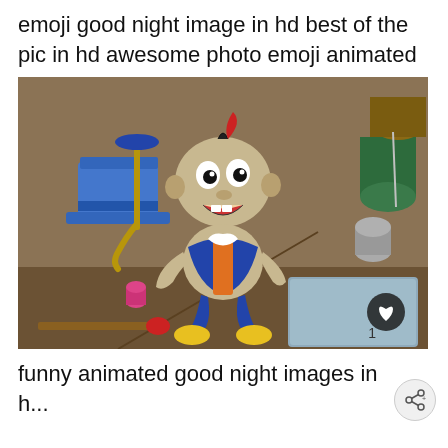emoji good night image in hd best of the pic in hd awesome photo emoji animated
[Figure (illustration): Jiminy Cricket cartoon character from Disney's Pinocchio, sitting and smiling with his hat and umbrella nearby, on a wooden surface with sewing items in the background. A heart/like button and number '1' are overlaid in the bottom right corner.]
funny animated good night images in h...